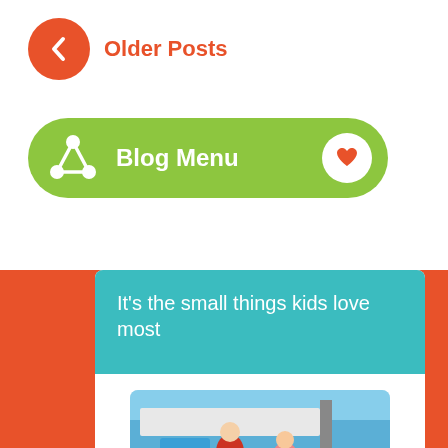[Figure (other): Orange circle back button with left chevron arrow and 'Older Posts' text link in orange]
[Figure (other): Green pill-shaped Blog Menu button with hub/share icon on left and dropdown chevron circle on right]
It’s the small things kids love most
[Figure (photo): Photo of children playing outdoors near a playhouse structure, partially visible]